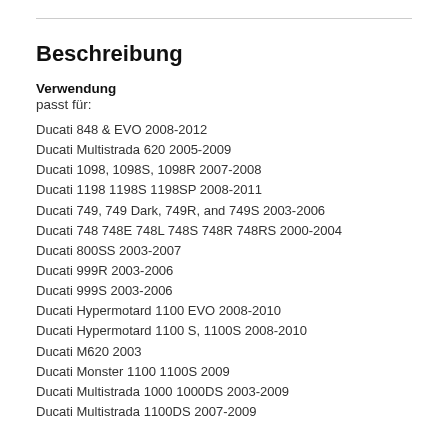Beschreibung
Verwendung
passt für:
Ducati 848 & EVO 2008-2012
Ducati Multistrada 620 2005-2009
Ducati 1098, 1098S, 1098R 2007-2008
Ducati 1198 1198S 1198SP 2008-2011
Ducati 749, 749 Dark, 749R, and 749S 2003-2006
Ducati 748 748E 748L 748S 748R 748RS 2000-2004
Ducati 800SS 2003-2007
Ducati 999R 2003-2006
Ducati 999S 2003-2006
Ducati Hypermotard 1100 EVO 2008-2010
Ducati Hypermotard 1100 S, 1100S 2008-2010
Ducati M620 2003
Ducati Monster 1100 1100S 2009
Ducati Multistrada 1000 1000DS 2003-2009
Ducati Multistrada 1100DS 2007-2009